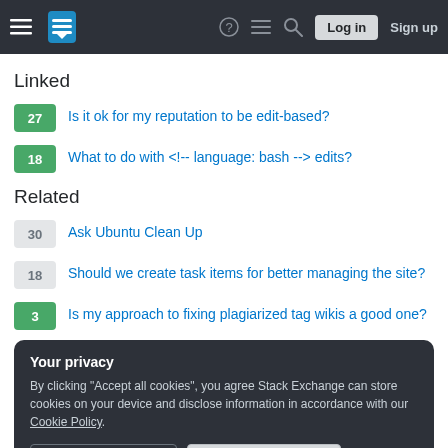Stack Exchange — Log in | Sign up
Linked
27 — Is it ok for my reputation to be edit-based?
18 — What to do with <!-- language: bash --> edits?
Related
30 — Ask Ubuntu Clean Up
18 — Should we create task items for better managing the site?
3 — Is my approach to fixing plagiarized tag wikis a good one?
Your privacy
By clicking "Accept all cookies", you agree Stack Exchange can store cookies on your device and disclose information in accordance with our Cookie Policy.
Accept all cookies   Customize settings
Hot Network Questions